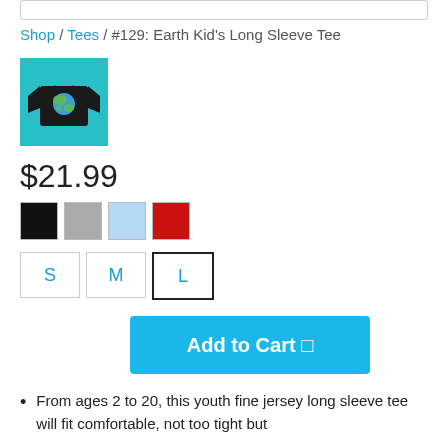Shop / Tees / #129: Earth Kid's Long Sleeve Tee
[Figure (photo): Product photo of a black long sleeve tee with an earth globe graphic on the front, displayed on a teal/cyan background square thumbnail.]
$21.99
[Figure (other): Four color swatches: black, gray, light blue, red]
[Figure (other): Three size buttons: S, M, L — L is selected with a bold border]
Add to Cart 🛒
From ages 2 to 20, this youth fine jersey long sleeve tee will fit comfortable, not too tight but